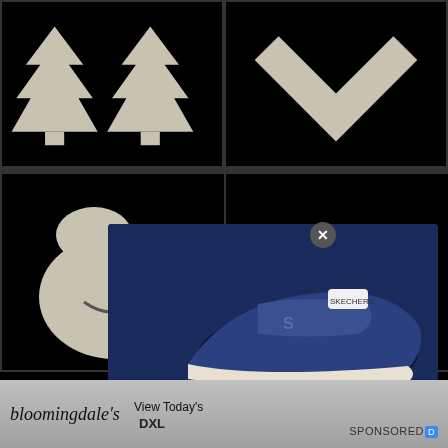[Figure (photo): Black background with two beige/cream colored Christmas tree silhouette shapes side by side]
[Figure (photo): Black background with a beige/cream colored heart or chevron shape]
[Figure (photo): Black background with a beige/cream colored teardrop or egg shape with a small mark]
[Figure (photo): Advertisement popup overlay showing a Skechers Arch Fit Paradyme navy sneaker with product details and price]
Big & Tall Men's Skechers Arch Fit Paradyme Sneakers - Navy - Size 15 Wide
$95.00
[Figure (logo): Bloomingdale's cursive logo]
View Today's
DXL
SPONSORED